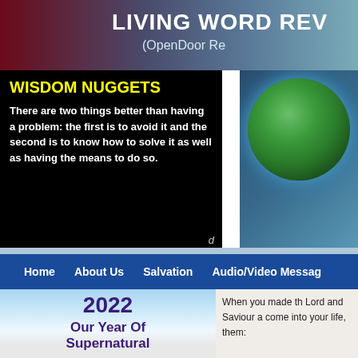LIVING WORD REV (OpenDoor Re
WISDOM NUGGETS
There are two things better than having a problem: the first is to avoid it and the second is to know how to solve it as well as having the means to do so.
[Figure (photo): Globe/Earth image on dark blue background]
Home
About Us
Salvation
Audio/Video Messag
[Figure (photo): Sky and clouds background]
2022
Our Year Of Supernatural
When you made th Lord and Saviour a come into your life, them: